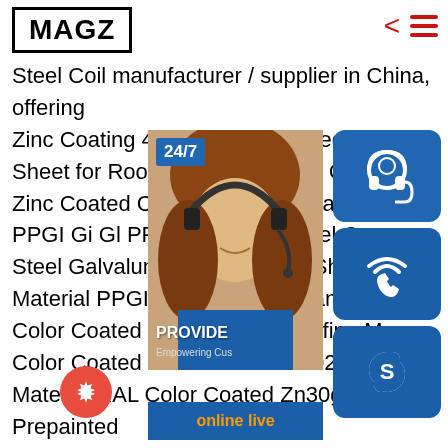MAGZ
Steel Coil manufacturer / supplier in China, offering Zinc Coating 40~180g/Galvanized Corrugated Sheet for Roofing Sheet, SGCC CGCC Zinc Coated Color Painted Prepainted PPGI Gi Gl PPGL Stainless Steel Corrugated Steel Galvalume Roofing Tiles Sheet, Building Material PPGI Prepainted Galvanized Color Coated sp.info China Roofing Material Color Coated PPGI PPGL Jun 02, 2021 Material RAL Color Coated Zn30g~275g Prepainted Galvanized China Cheap PPGI Steel Coil Price:Type of substrate:Hot dip galvanized, Galvalume, Electro galvanized,Zinc alloy, Cold rolled steel, Aluminium:Thickness:0.12~
[Figure (screenshot): Customer service sidebar with 24/7 badge, woman with headset, PROVIDE Empowering Customers text, online live button, and three blue icon buttons (headset, phone/wifi, Skype)]